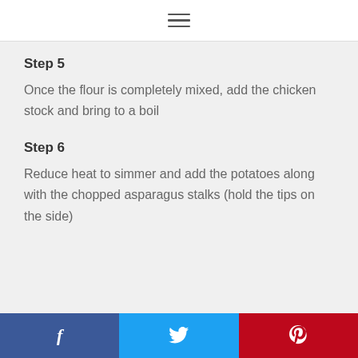Step 5
Once the flour is completely mixed, add the chicken stock and bring to a boil
Step 6
Reduce heat to simmer and add the potatoes along with the chopped asparagus stalks (hold the tips on the side)
f  Twitter  p